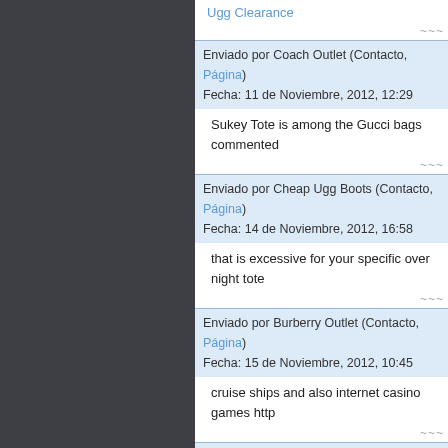Ugg Clearance
~~~
Enviado por Coach Outlet (Contacto, Página)
Fecha: 11 de Noviembre, 2012, 12:29
Sukey Tote is among the Gucci bags commented
~~~
Enviado por Cheap Ugg Boots (Contacto, Página)
Fecha: 14 de Noviembre, 2012, 16:58
that is excessive for your specific over night tote
~~~
Enviado por Burberry Outlet (Contacto, Página)
Fecha: 15 de Noviembre, 2012, 10:45
cruise ships and also internet casino games http
~~~
Enviado por Coach Outlet (Contacto, Página)
Fecha: 15 de Noviembre, 2012, 18:27
to be able to carry your pet i Louis Vuitton Outlet